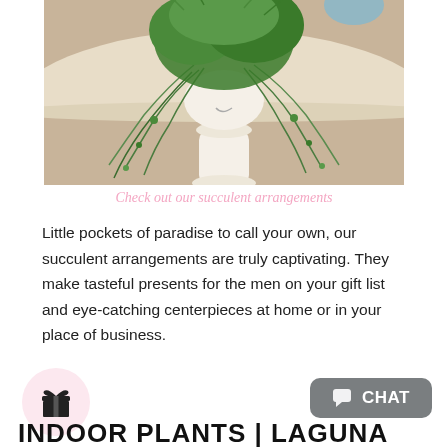[Figure (photo): A hanging succulent plant in a white pot with a face design, sitting on a round light-wood table against a wooden floor background.]
Check out our succulent arrangements
Little pockets of paradise to call your own, our succulent arrangements are truly captivating. They make tasteful presents for the men on your gift list and eye-catching centerpieces at home or in your place of business.
[Figure (illustration): Pink circle with a gift box icon inside]
[Figure (other): Grey chat button with chat icon and CHAT text]
INDOOR PLANTS | LAGUNA